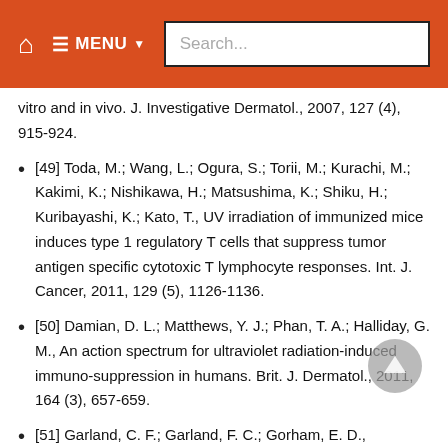Home  MENU  Search...
vitro and in vivo. J. Investigative Dermatol., 2007, 127 (4), 915-924.
[49] Toda, M.; Wang, L.; Ogura, S.; Torii, M.; Kurachi, M.; Kakimi, K.; Nishikawa, H.; Matsushima, K.; Shiku, H.; Kuribayashi, K.; Kato, T., UV irradiation of immunized mice induces type 1 regulatory T cells that suppress tumor antigen specific cytotoxic T lymphocyte responses. Int. J. Cancer, 2011, 129 (5), 1126-1136.
[50] Damian, D. L.; Matthews, Y. J.; Phan, T. A.; Halliday, G. M., An action spectrum for ultraviolet radiation-induced immuno-suppression in humans. Brit. J. Dermatol., 2011, 164 (3), 657-659.
[51] Garland, C. F.; Garland, F. C.; Gorham, E. D., Epidemiologic evidence for different roles of ultraviolet A and B radiation in melanoma mortality rates. Ann. Epidemiol., 2003, 13 (6),